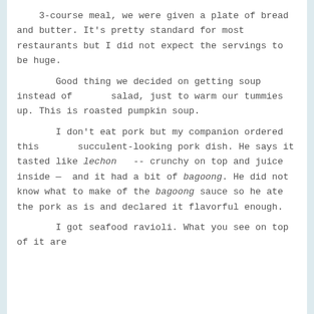3-course meal, we were given a plate of bread and butter. It's pretty standard for most restaurants but I did not expect the servings to be huge.
Good thing we decided on getting soup instead of salad, just to warm our tummies up. This is roasted pumpkin soup.
I don't eat pork but my companion ordered this succulent-looking pork dish. He says it tasted like lechon -- crunchy on top and juice inside — and it had a bit of bagoong. He did not know what to make of the bagoong sauce so he ate the pork as is and declared it flavorful enough.
I got seafood ravioli. What you see on top of it are